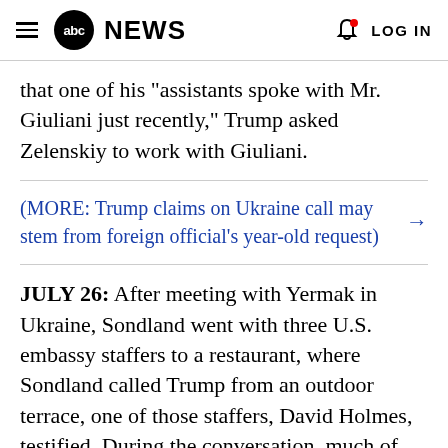abc NEWS  LOG IN
that one of his "assistants spoke with Mr. Giuliani just recently," Trump asked Zelenskiy to work with Giuliani.
(MORE: Trump claims on Ukraine call may stem from foreign official's year-old request) →
JULY 26: After meeting with Yermak in Ukraine, Sondland went with three U.S. embassy staffers to a restaurant, where Sondland called Trump from an outdoor terrace, one of those staffers, David Holmes, testified. During the conversation, much of